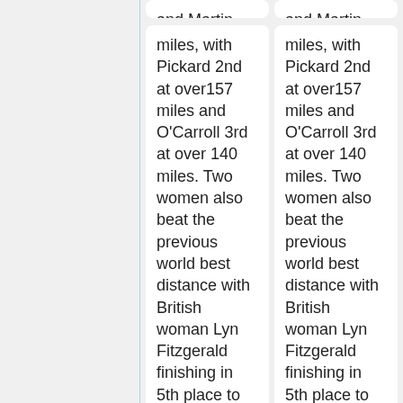and Martin Daykin. All sixteen runners still on the track after 24 hours covered over 100
and Martin Daykin. All sixteen runners still on the track after 24 hours covered over 100
miles, with Pickard 2nd at over157 miles and O'Carroll 3rd at over 140 miles. Two women also beat the previous world best distance with British woman Lyn Fitzgerald finishing in 5th place to establish a new Women's World Record of
miles, with Pickard 2nd at over157 miles and O'Carroll 3rd at over 140 miles. Two women also beat the previous world best distance with British woman Lyn Fitzgerald finishing in 5th place to establish a new Women's World Record of